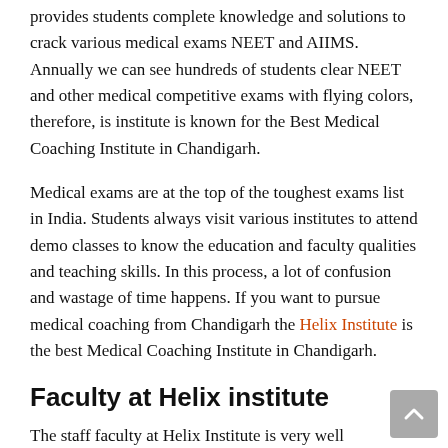provides students complete knowledge and solutions to crack various medical exams NEET and AIIMS. Annually we can see hundreds of students clear NEET and other medical competitive exams with flying colors, therefore, is institute is known for the Best Medical Coaching Institute in Chandigarh.
Medical exams are at the top of the toughest exams list in India. Students always visit various institutes to attend demo classes to know the education and faculty qualities and teaching skills. In this process, a lot of confusion and wastage of time happens. If you want to pursue medical coaching from Chandigarh the Helix Institute is the best Medical Coaching Institute in Chandigarh.
Faculty at Helix institute
The staff faculty at Helix Institute is very well experienced along with it they provide several tips and short cut strategies to crack any medical exam. Each student is also given personal special attention for their academic growth